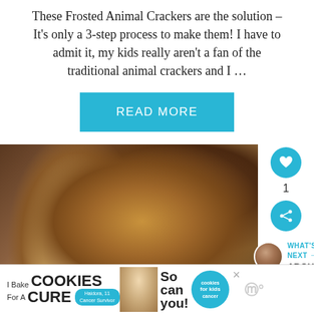These Frosted Animal Crackers are the solution – It's only a 3-step process to make them! I have to admit it, my kids really aren't a fan of the traditional animal crackers and I …
READ MORE
[Figure (photo): Close-up photo of frosted animal crackers showing textured pretzel/cracker shapes coated in chocolate and frosting]
[Figure (infographic): Sidebar UI elements: heart/like button showing count of 1, share button, and a What's Next section with avatar photo labeled ABOUT]
[Figure (infographic): Advertisement banner: I Bake COOKIES For A CURE featuring Haidora, 11 Cancer Survivor, So can you! with cookies for kids cancer branding]